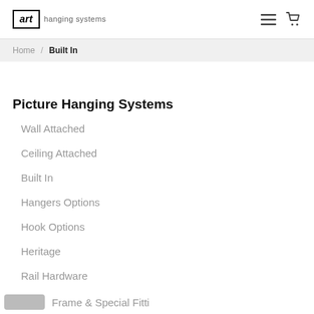art hanging systems
Home / Built In
Picture Hanging Systems
Wall Attached
Ceiling Attached
Built In
Hangers Options
Hook Options
Heritage
Rail Hardware
Frame & Special Fitting (partially visible)